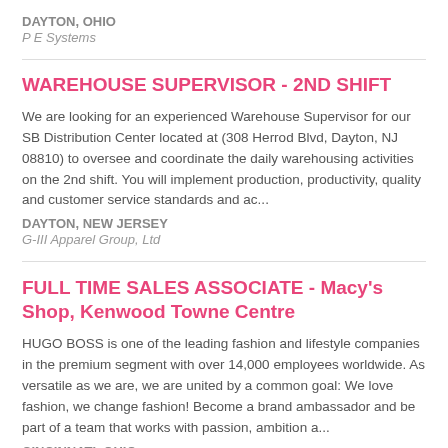DAYTON, OHIO
P E Systems
WAREHOUSE SUPERVISOR - 2ND SHIFT
We are looking for an experienced Warehouse Supervisor for our SB Distribution Center located at (308 Herrod Blvd, Dayton, NJ 08810) to oversee and coordinate the daily warehousing activities on the 2nd shift. You will implement production, productivity, quality and customer service standards and ac...
DAYTON, NEW JERSEY
G-III Apparel Group, Ltd
FULL TIME SALES ASSOCIATE - Macy's Shop, Kenwood Towne Centre
HUGO BOSS is one of the leading fashion and lifestyle companies in the premium segment with over 14,000 employees worldwide. As versatile as we are, we are united by a common goal: We love fashion, we change fashion! Become a brand ambassador and be part of a team that works with passion, ambition a...
CINCINNATI, OHIO